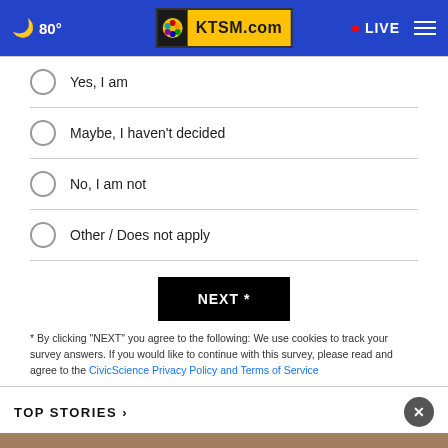🌙 80° KTSM.com • LIVE
Yes, I am
Maybe, I haven't decided
No, I am not
Other / Does not apply
NEXT *
* By clicking "NEXT" you agree to the following: We use cookies to track your survey answers. If you would like to continue with this survey, please read and agree to the CivicScience Privacy Policy and Terms of Service
TOP STORIES ›
[Figure (screenshot): Red advertisement banner: GET DOWN WITH YOUR BLOOD PRESSURE with ACT NOW button and ad council / American Heart Association / AMA logos]